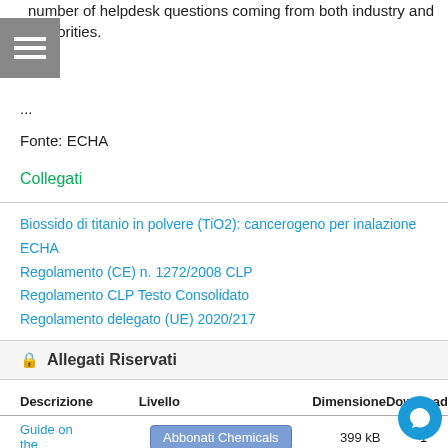number of helpdesk questions coming from both industry and authorities.
...
Fonte: ECHA
Collegati
Biossido di titanio in polvere (TiO2): cancerogeno per inalazione
ECHA
Regolamento (CE) n. 1272/2008 CLP
Regolamento CLP Testo Consolidato
Regolamento delegato (UE) 2020/217
🔒 Allegati Riservati
| Descrizione | Livello | Dimensione | Download |
| --- | --- | --- | --- |
| Guide on the | Abbonati Chemicals | 399 kB | 1 |